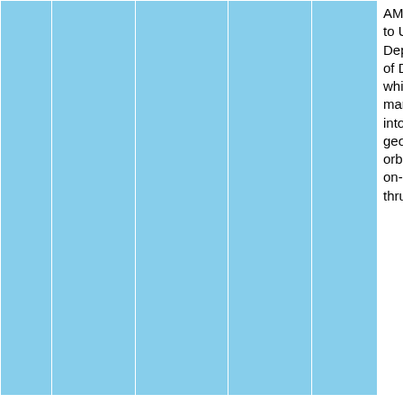| # | Date | Rocket | Payload | Outcome | Notes |
| --- | --- | --- | --- | --- | --- |
|  |  |  |  |  | AMC 14 sold to US Department of Defense which manuevered into geosynchronous orbit using on-board thrusters |
| 42 | May 21, 2009 | Soyuz-2.1a/ Fregat | Meridian 2 | Failure | Second stage shut down early. Fregat upper stage ran out fuel trying to compensate. Satellite left in useless orbit, declared a loss by Russian military. |
| 43 | Dec. 5, 2010 | Proton-M/ Blok DM-3 | Uragan-M #739 | Failure | Rocket failed to reach orbital... |